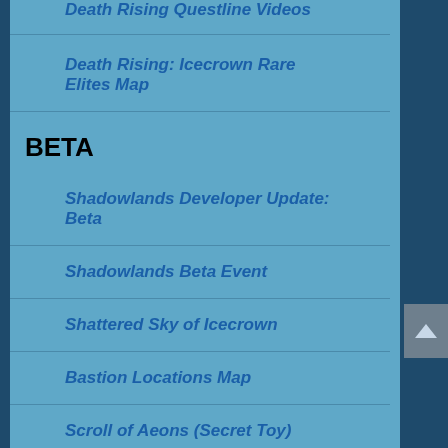Death Rising Questline Videos
Death Rising: Icecrown Rare Elites Map
BETA
Shadowlands Developer Update: Beta
Shadowlands Beta Event
Shattered Sky of Icecrown
Bastion Locations Map
Scroll of Aeons (Secret Toy)
All-New Level 1-60 Zones (All continents)